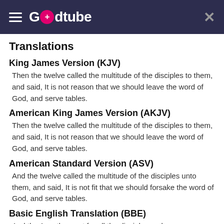Godtube
Translations
King James Version (KJV)
Then the twelve called the multitude of the disciples to them, and said, It is not reason that we should leave the word of God, and serve tables.
American King James Version (AKJV)
Then the twelve called the multitude of the disciples to them, and said, It is not reason that we should leave the word of God, and serve tables.
American Standard Version (ASV)
And the twelve called the multitude of the disciples unto them, and said, It is not fit that we should forsake the word of God, and serve tables.
Basic English Translation (BBE)
And the Apostles sent for all the disciples and